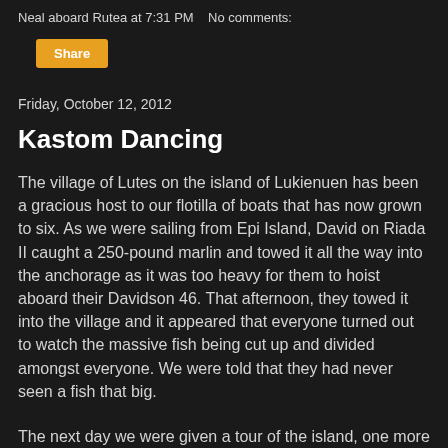Neal aboard Rutea at 7:31 PM   No comments:
Share
Friday, October 12, 2012
Kastom Dancing
The village of Lutes on the island of Lukienuen has been a gracious host to our flotilla of boats that has now grown to six. As we were sailing from Epi Island, David on Riada II caught a 250-pound marlin and towed it all the way into the anchorage as it was too heavy for them to hoist aboard their Davidson 46. That afternoon, they towed it into the village and it appeared that everyone turned out to watch the massive fish being cut up and divided amongst everyone. We were told that they had never seen a fish that big.
The next day we were given a tour of the island, one more time hiking through a thick tropical jungle. As we continue north, the temperature and humidity increase, taking just